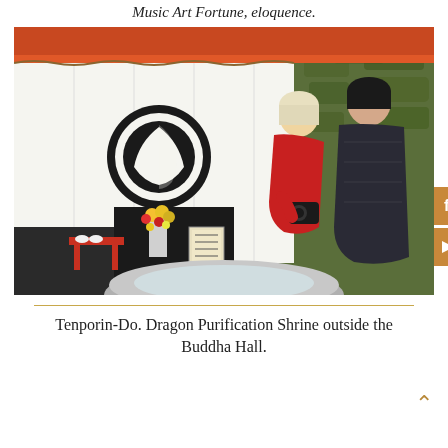Music Art Fortune, eloquence.
[Figure (photo): Two women at a Japanese shrine. One woman in a red coat leans forward holding a camera, photographing something in a large stone basin. Another woman in a dark quilted jacket stands beside her. Behind them is a white ceremonial curtain with a black family crest (mon), orange roof trim, a floral arrangement, and a small wooden sign with Japanese text. A mossy stone wall is visible in the background.]
Tenporin-Do. Dragon Purification Shrine outside the Buddha Hall.